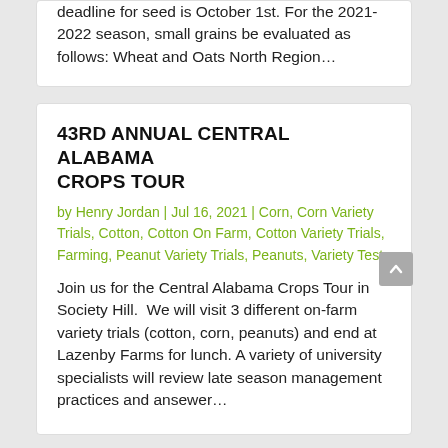deadline for seed is October 1st. For the 2021-2022 season, small grains be evaluated as follows: Wheat and Oats North Region…
43RD ANNUAL CENTRAL ALABAMA CROPS TOUR
by Henry Jordan | Jul 16, 2021 | Corn, Corn Variety Trials, Cotton, Cotton On Farm, Cotton Variety Trials, Farming, Peanut Variety Trials, Peanuts, Variety Tests
Join us for the Central Alabama Crops Tour in Society Hill. We will visit 3 different on-farm variety trials (cotton, corn, peanuts) and end at Lazenby Farms for lunch. A variety of university specialists will review late season management practices and ansewer…